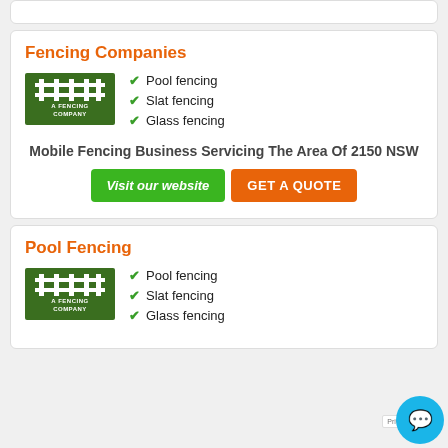Fencing Companies
[Figure (logo): A Fencing Company logo — green background with white fence icon and text]
Pool fencing
Slat fencing
Glass fencing
Mobile Fencing Business Servicing The Area Of 2150 NSW
Visit our website | GET A QUOTE
Pool Fencing
[Figure (logo): A Fencing Company logo — green background with white fence icon and text]
Pool fencing
Slat fencing
Glass fencing